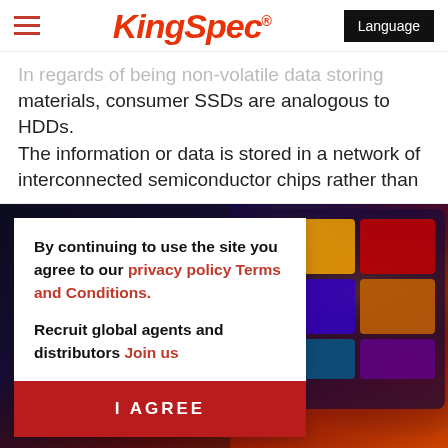KingSpec® | Language
In regards of being non-volatile data storing materials, consumer SSDs are analogous to HDDs. The information or data is stored in a network of interconnected semiconductor chips rather than
[Figure (screenshot): Background image of colorful casino slot machine screens with bright icons and displays]
By continuing to use the site you agree to our privacy policy Terms and Conditions.

Recruit global agents and distributors Join us
[Figure (other): I AGREE button — red cookie consent button]